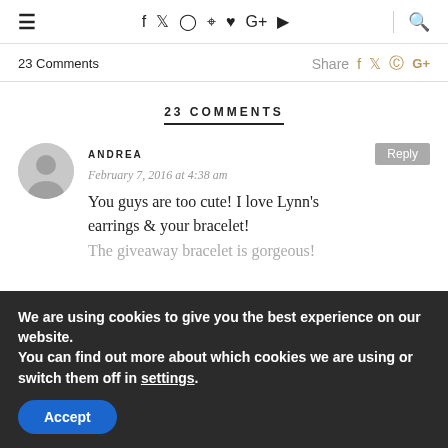≡  f  t  ○  ⊕  ♥  G+  ▶  🔍
23 Comments   Share  f  t  p  G+
23 COMMENTS
ANDREA
February 7, 2016 at 4:38 am
You guys are too cute! I love Lynn's earrings & your bracelet!
The giveaway bracelet is gorgeous!
We are using cookies to give you the best experience on our website.
You can find out more about which cookies we are using or switch them off in settings.
Accept